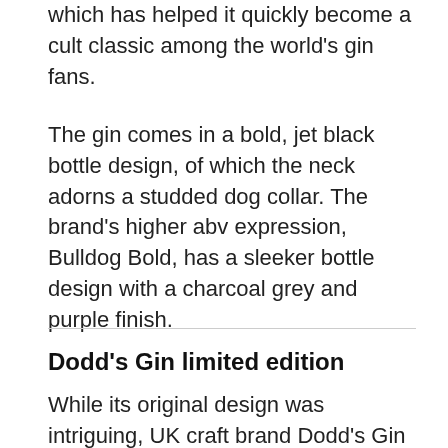which has helped it quickly become a cult classic among the world's gin fans.
The gin comes in a bold, jet black bottle design, of which the neck adorns a studded dog collar. The brand's higher abv expression, Bulldog Bold, has a sleeker bottle design with a charcoal grey and purple finish.
Dodd's Gin limited edition
While its original design was intriguing, UK craft brand Dodd's Gin pushed the boat out with its limited edition bottle design launched to commemorate its first anniversary in March